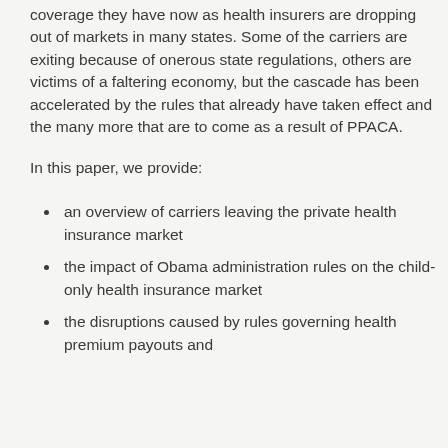coverage they have now as health insurers are dropping out of markets in many states. Some of the carriers are exiting because of onerous state regulations, others are victims of a faltering economy, but the cascade has been accelerated by the rules that already have taken effect and the many more that are to come as a result of PPACA.
In this paper, we provide:
an overview of carriers leaving the private health insurance market
the impact of Obama administration rules on the child-only health insurance market
the disruptions caused by rules governing health premium payouts and